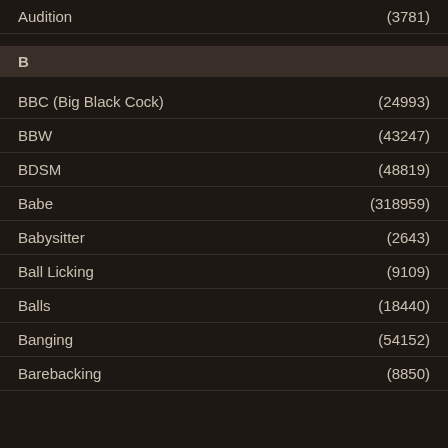Audition (3781)
B
BBC (Big Black Cock) (24993)
BBW (43247)
BDSM (48819)
Babe (318959)
Babysitter (2643)
Ball Licking (9109)
Balls (18440)
Banging (54152)
Barebacking (8850)